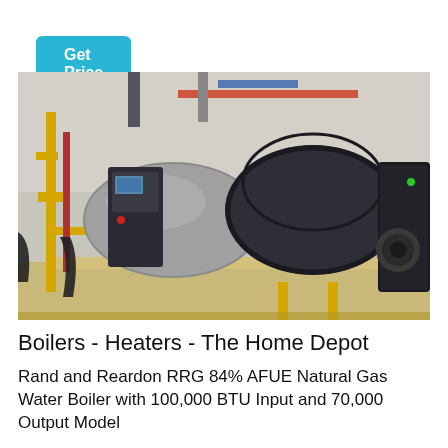Get Price
[Figure (photo): Industrial boiler installation showing two large cylindrical boiler units with black insulation jackets, yellow gas pipes, a control panel with display screen and indicator lights, mounted on a wooden platform inside a facility.]
Boilers - Heaters - The Home Depot
Rand and Reardon RRG 84% AFUE Natural Gas Water Boiler with 100,000 BTU Input and 70,000 Output Model